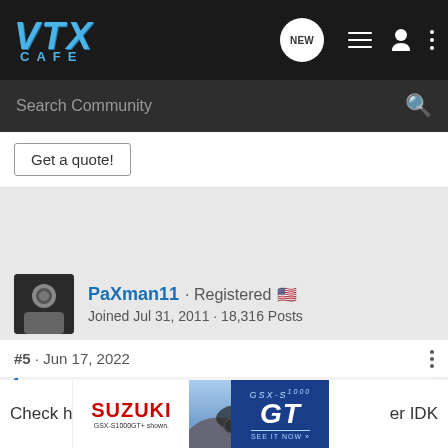VTX CAFE - Search Community
[Figure (screenshot): Get a quote! button banner]
PaXman11 · Registered 🇺🇸
Joined Jul 31, 2011 · 18,316 Posts
#5 · Jun 17, 2022
pcollipa said: ↑
PaXman11, I never thought of that but that would be perfect not sure where to get something like that
[Figure (photo): Suzuki GSX-S1000GT advertisement banner at the bottom of the page. Shows Suzuki logo, motorcycle image, and GT badge with SEE IT NOW text.]
Check h... er IDK